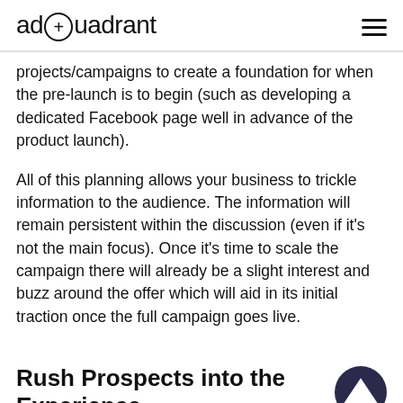adQuadrant
projects/campaigns to create a foundation for when the pre-launch is to begin (such as developing a dedicated Facebook page well in advance of the product launch).
All of this planning allows your business to trickle information to the audience. The information will remain persistent within the discussion (even if it’s not the main focus). Once it’s time to scale the campaign there will already be a slight interest and buzz around the offer which will aid in its initial traction once the full campaign goes live.
Rush Prospects into the Experience